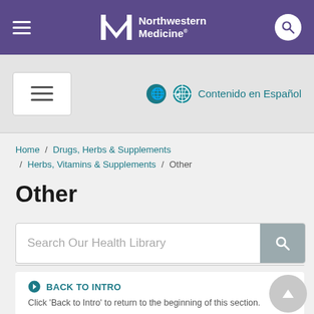Northwestern Medicine
Contenido en Español
Home / Drugs, Herbs & Supplements / Herbs, Vitamins & Supplements / Other
Other
Search Our Health Library
BACK TO INTRO
Click 'Back to Intro' to return to the beginning of this section.